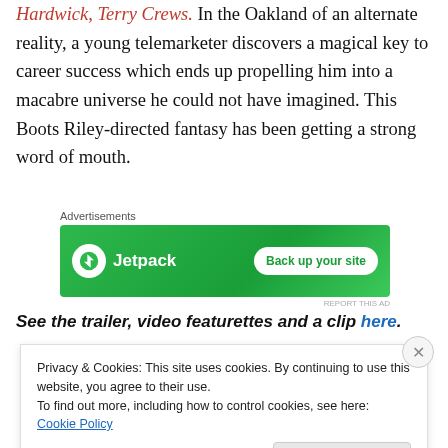Hardwick, Terry Crews. In the Oakland of an alternate reality, a young telemarketer discovers a magical key to career success which ends up propelling him into a macabre universe he could not have imagined. This Boots Riley-directed fantasy has been getting a strong word of mouth.
Advertisements
[Figure (other): Jetpack advertisement banner with green background showing Jetpack logo and 'Back up your site' button]
See the trailer, video featurettes and a clip here.
Privacy & Cookies: This site uses cookies. By continuing to use this website, you agree to their use.
To find out more, including how to control cookies, see here: Cookie Policy
Close and accept